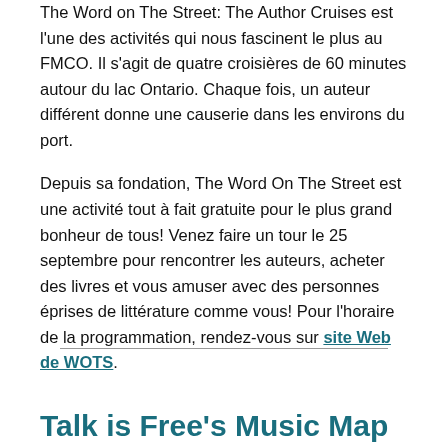The Word on The Street: The Author Cruises est l'une des activités qui nous fascinent le plus au FMCO. Il s'agit de quatre croisières de 60 minutes autour du lac Ontario. Chaque fois, un auteur différent donne une causerie dans les environs du port.
Depuis sa fondation, The Word On The Street est une activité tout à fait gratuite pour le plus grand bonheur de tous! Venez faire un tour le 25 septembre pour rencontrer les auteurs, acheter des livres et vous amuser avec des personnes éprises de littérature comme vous! Pour l'horaire de la programmation, rendez-vous sur site Web de WOTS.
Talk is Free's Music Map